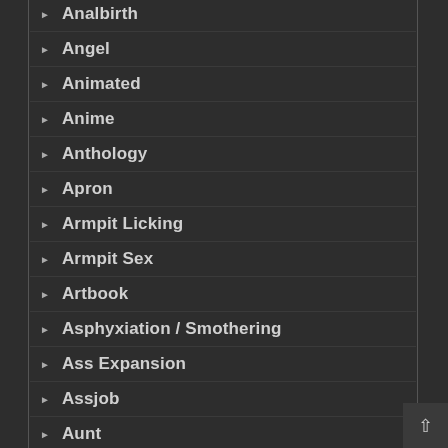Analbirth
Angel
Animated
Anime
Anthology
Apron
Armpit Licking
Armpit Sex
Artbook
Asphyxiation / Smothering
Ass Expansion
Assjob
Aunt